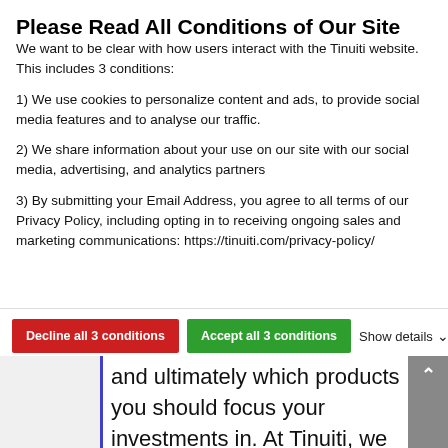Please Read All Conditions of Our Site
We want to be clear with how users interact with the Tinuiti website. This includes 3 conditions:
1) We use cookies to personalize content and ads, to provide social media features and to analyse our traffic.
2) We share information about your use on our site with our social media, advertising, and analytics partners
3) By submitting your Email Address, you agree to all terms of our Privacy Policy, including opting in to receiving ongoing sales and marketing communications: https://tinuiti.com/privacy-policy/
Decline all 3 conditions   Accept all 3 conditions   Show details
and ultimately which products you should focus your investments in. At Tinuiti, we believe